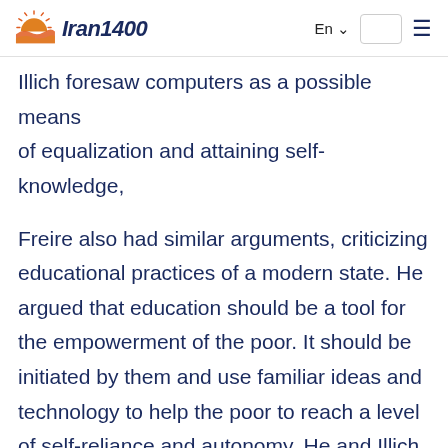Iran1400
Illich foresaw computers as a possible means of equalization and attaining self-knowledge,
Freire also had similar arguments, criticizing educational practices of a modern state. He argued that education should be a tool for the empowerment of the poor. It should be initiated by them and use familiar ideas and technology to help the poor to reach a level of self-reliance and autonomy. He and Illich